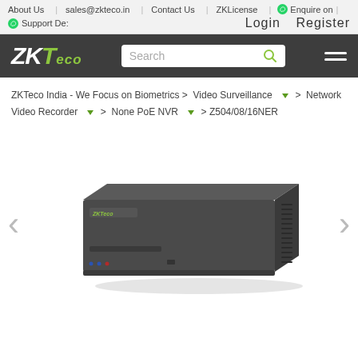About Us | sales@zkteco.in | Contact Us | ZKLicense | Enquire on | Support De: | Login | Register
[Figure (logo): ZKTeco logo in dark grey header bar with search box]
ZKTeco India - We Focus on Biometrics > Video Surveillance ▼ > Network Video Recorder ▼ > None PoE NVR ▼ > Z504/08/16NER
[Figure (photo): ZKTeco Z504/08/16NER Network Video Recorder (NVR) product photo - dark grey flat box with ventilation slits on the side]